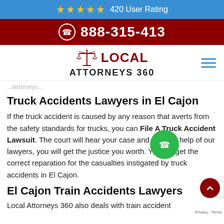★★★★★ 420 User Rating
888-315-413
[Figure (logo): Local Attorneys 360 logo with scales of justice icon]
...attorneys...
Truck Accidents Lawyers in El Cajon
If the truck accident is caused by any reason that averts from the safety standards for trucks, you can File A Truck Accident Lawsuit. The court will hear your case and with the help of our lawyers, you will get the justice you worth. You will get the correct reparation for the casualties instigated by truck accidents in El Cajon.
El Cajon Train Accidents Lawyers
Local Attorneys 360 also deals with train accident